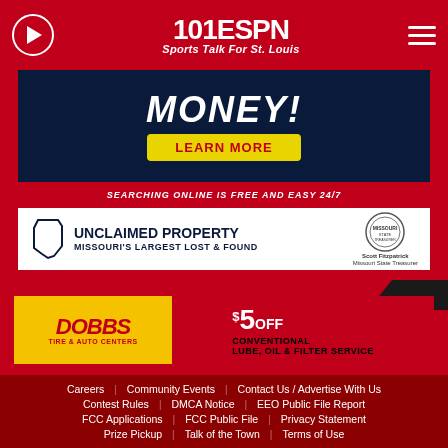[Figure (logo): 101 ESPN Sports Talk For St. Louis logo with play button and menu icon on red background]
[Figure (infographic): Unclaimed Property ad: MONEY! bold text, LEARN MORE yellow button, SEARCHING ONLINE IS FREE AND EASY 24/7 strip, Unclaimed Property Missouri's Largest Lost and Found with Scott Fitzpatrick Missouri State Treasurer seal]
[Figure (infographic): Dobbs Tire & Auto Centers ad: $5 OFF Conventional Lube, Oil & Filter Service]
Careers   Community Events   Contact Us / Advertise With Us
Contest Rules   DMCA Notice   EEO Public File Report
FCC Applications   FCC Public File   Privacy Statement
Prize Pickup   Talk of the Town   Terms of Use